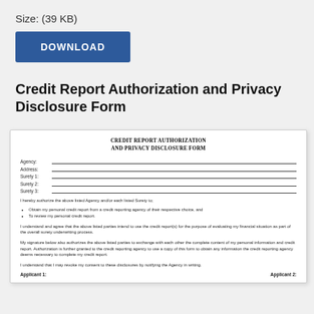Size: (39 KB)
[Figure (other): Blue download button with text DOWNLOAD]
Credit Report Authorization and Privacy Disclosure Form
[Figure (other): Preview of Credit Report Authorization and Privacy Disclosure Form document showing form fields for Agency, Address, Surety 1, Surety 2, Surety 3, and body text with bullet points and applicant signature lines]
CREDIT REPORT AUTHORIZATION AND PRIVACY DISCLOSURE FORM
Agency: [line] Address: [line] Surety 1: [line] Surety 2: [line] Surety 3: [line]
I hereby authorize the above listed Agency and/or each listed Surety to;
Obtain my personal credit report from a credit reporting agency of their respective choice, and
To review my personal credit report.
I understand and agree that the above listed parties intend to use the credit report(s) for the purpose of evaluating my financial situation as part of the overall surety underwriting process.
My signature below also authorizes the above listed parties to exchange with each other the complete content of my personal information and credit report. Authorization is further granted to the credit reporting agency to use a copy of this form to obtain any information the credit reporting agency deems necessary to complete my credit report.
I understand that I may revoke my consent to these disclosures by notifying the Agency in writing.
Applicant 1:    Applicant 2: